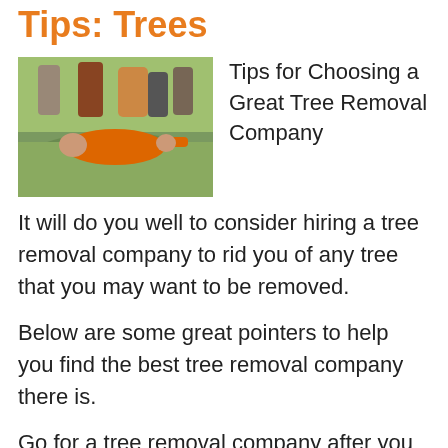Tips: Trees
[Figure (photo): Outdoor action photo of people playing a sport or game, person in orange shirt on ground]
Tips for Choosing a Great Tree Removal Company
It will do you well to consider hiring a tree removal company to rid you of any tree that you may want to be removed.
Below are some great pointers to help you find the best tree removal company there is.
Go for a tree removal company after you have considered the reputation they have. When the tree removal company has a great reputation you are assured that they have